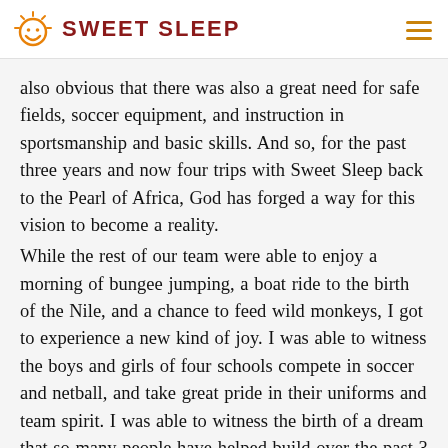SWEET SLEEP
also obvious that there was also a great need for safe fields, soccer equipment, and instruction in sportsmanship and basic skills. And so, for the past three years and now four trips with Sweet Sleep back to the Pearl of Africa, God has forged a way for this vision to become a reality.
While the rest of our team were able to enjoy a morning of bungee jumping, a boat ride to the birth of the Nile, and a chance to feed wild monkeys, I got to experience a new kind of joy. I was able to witness the boys and girls of four schools compete in soccer and netball, and take great pride in their uniforms and team spirit. I was able to witness the birth of a dream that so many people have helped build over the past 3 years. I was able to witness the hard work and dedication of Jonathan